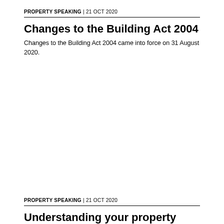PROPERTY SPEAKING | 21 OCT 2020
Changes to the Building Act 2004
Changes to the Building Act 2004 came into force on 31 August 2020.
PROPERTY SPEAKING | 21 OCT 2020
Understanding your property